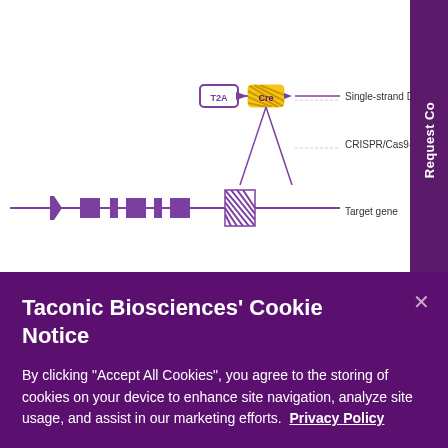[Figure (schematic): Partial view of a CRISPR/Cas9 gene editing diagram showing T2A and Cre elements connected to legend labels: Single-strand DNA template, CRISPR/Cas9-facilitated insertion, Target gene. A purple horizontal line with gene elements is shown below.]
Taconic Biosciences' Cookie Notice
By clicking “Accept All Cookies”, you agree to the storing of cookies on your device to enhance site navigation, analyze site usage, and assist in our marketing efforts.  Privacy Policy
Cookies Settings
Reject All
Accept All Cookies